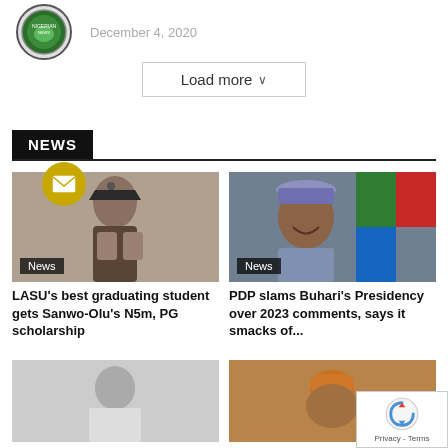[Figure (logo): Circular green/yellow emblem logo]
December 4, 2020
Load more ∨
NEWS
[Figure (photo): Best graduating student in graduation gown holding awards]
News
LASU's best graduating student gets Sanwo-Olu's N5m, PG scholarship
[Figure (photo): Man smiling with Nigerian flag in background, wearing blue cap]
News
PDP slams Buhari's Presidency over 2023 comments, says it smacks of...
[Figure (photo): Person in white robe]
[Figure (photo): Man wearing orange hat]